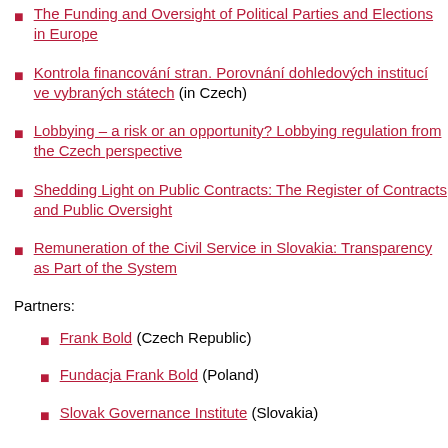The Funding and Oversight of Political Parties and Elections in Europe
Kontrola financování stran. Porovnání dohledových institucí ve vybraných státech (in Czech)
Lobbying – a risk or an opportunity? Lobbying regulation from the Czech perspective
Shedding Light on Public Contracts: The Register of Contracts and Public Oversight
Remuneration of the Civil Service in Slovakia: Transparency as Part of the System
Partners:
Frank Bold (Czech Republic)
Fundacja Frank Bold (Poland)
Slovak Governance Institute (Slovakia)